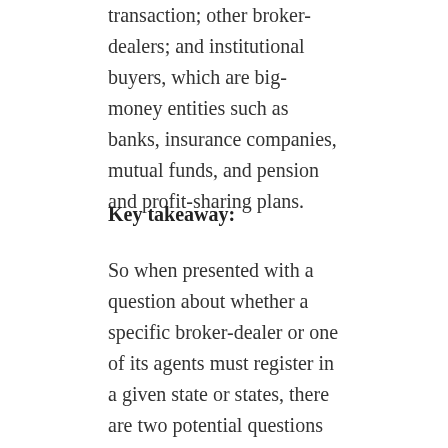transaction; other broker-dealers; and institutional buyers, which are big-money entities such as banks, insurance companies, mutual funds, and pension and profit-sharing plans.
Key takeaway:
So when presented with a question about whether a specific broker-dealer or one of its agents must register in a given state or states, there are two potential questions to ask yourself. The first question is: “Does the broker-dealer or BD agent have an office in the state?” If the answer is yes, it’s simple: